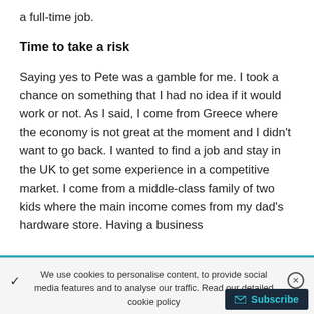a full-time job.
Time to take a risk
Saying yes to Pete was a gamble for me. I took a chance on something that I had no idea if it would work or not. As I said, I come from Greece where the economy is not great at the moment and I didn't want to go back. I wanted to find a job and stay in the UK to get some experience in a competitive market. I come from a middle-class family of two kids where the main income comes from my dad's hardware store. Having a business
We use cookies to personalise content, to provide social media features and to analyse our traffic. Read our detailed cookie policy